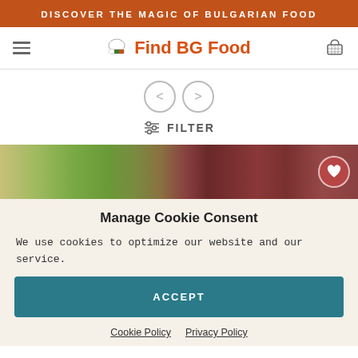DISCOVER THE MAGIC OF BULGARIAN FOOD
Find BG Food
[Figure (other): Carousel navigation arrows (left and right) and filter icon with FILTER label]
[Figure (photo): Food product image strip showing colorful Bulgarian foods with a heart/favorite button overlay]
Manage Cookie Consent
We use cookies to optimize our website and our service.
ACCEPT
Cookie Policy   Privacy Policy